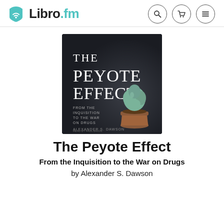[Figure (logo): Libro.fm logo with teal book/wifi icon and wordmark, followed by search, cart, and menu icons in circular outlines]
[Figure (photo): Audiobook cover for 'The Peyote Effect: From the Inquisition to the War on Drugs' by Alexander S. Dawson, read by Paul Brion. Dark background with a small peyote cactus in a terracotta pot. White serif title text.]
The Peyote Effect
From the Inquisition to the War on Drugs
by Alexander S. Dawson